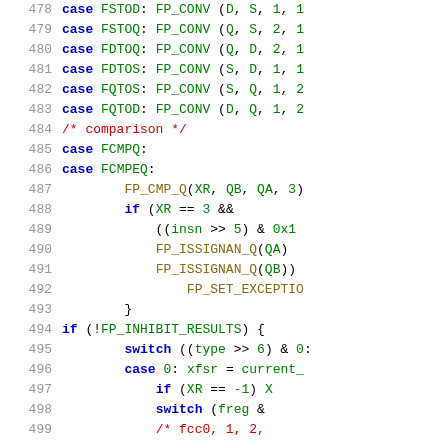[Figure (screenshot): Source code listing showing lines 478-499 of a C-like program implementing floating point operations. Line numbers in gray on left, code in syntax-highlighted monospace font. Keywords in blue, identifiers in green, comments in red, function names in gold.]